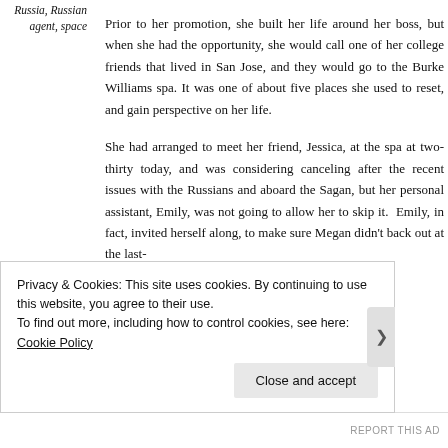Russia, Russian agent, space
Prior to her promotion, she built her life around her boss, but when she had the opportunity, she would call one of her college friends that lived in San Jose, and they would go to the Burke Williams spa. It was one of about five places she used to reset, and gain perspective on her life.
She had arranged to meet her friend, Jessica, at the spa at two-thirty today, and was considering canceling after the recent issues with the Russians and aboard the Sagan, but her personal assistant, Emily, was not going to allow her to skip it.  Emily, in fact, invited herself along, to make sure Megan didn't back out at the last-
Privacy & Cookies: This site uses cookies. By continuing to use this website, you agree to their use.
To find out more, including how to control cookies, see here: Cookie Policy
Close and accept